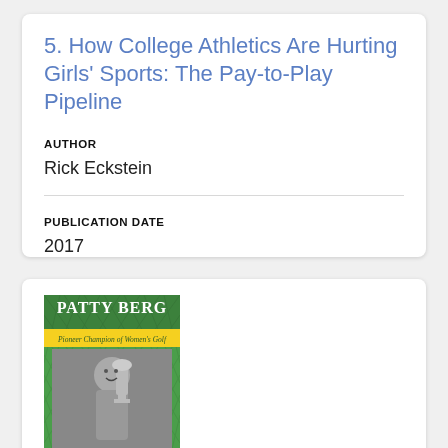5. How College Athletics Are Hurting Girls' Sports: The Pay-to-Play Pipeline
AUTHOR
Rick Eckstein
PUBLICATION DATE
2017
[Figure (photo): Book cover of 'Patty Berg: Pioneer Champion of Women's Golf' by Kevin Kenny, Foreword by Kathy Whitworth. Green cover with diamond pattern, yellow stripe, and black-and-white photo of Patty Berg holding a trophy.]